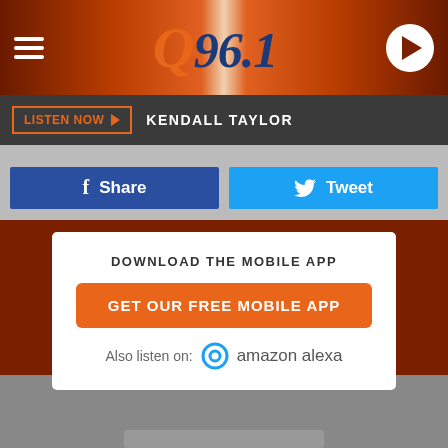Q96.1
LISTEN NOW  KENDALL TAYLOR
Share  Tweet
DOWNLOAD THE MOBILE APP
GET OUR FREE MOBILE APP
Also listen on:  amazon alexa
[Figure (photo): Bottom portion of page showing a person, partially visible]